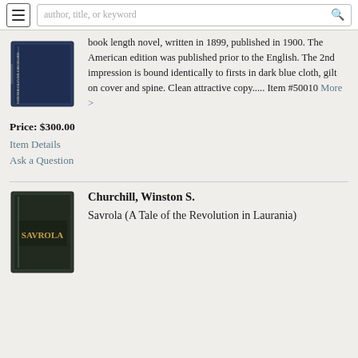author, title, or keyword
book length novel, written in 1899, published in 1900. The American edition was published prior to the English. The 2nd impression is bound identically to firsts in dark blue cloth, gilt on cover and spine. Clean attractive copy..... Item #50010 More >
Price: $300.00
Item Details
Ask a Question
Churchill, Winston S.
Savrola (A Tale of the Revolution in Laurania)